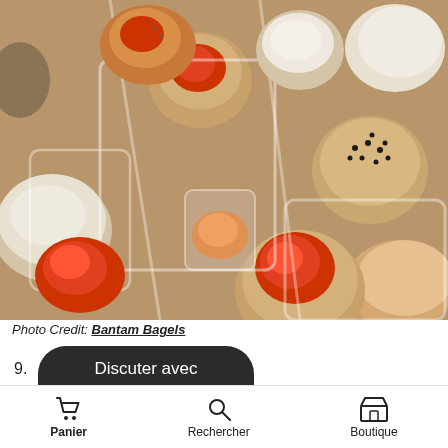[Figure (photo): Close-up photo of assorted mini bagels and stuffed items in clear plastic containers, including tomato-topped bagels, sesame-topped bagels, and powdered sugar-dusted round pastries.]
Photo Credit: Bantam Bagels
9.
Discuter avec nous
Panier   Rechercher   Boutique